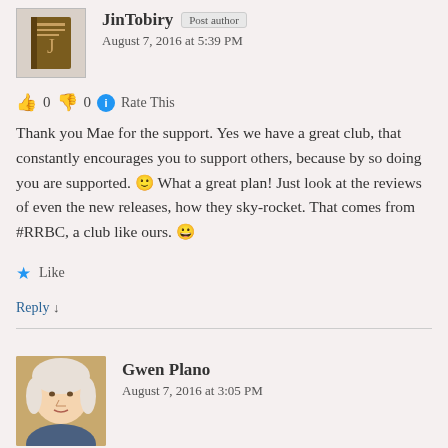JinTobiry Post author
August 7, 2016 at 5:39 PM
👍 0 👎 0 ℹ Rate This
Thank you Mae for the support. Yes we have a great club, that constantly encourages you to support others, because by so doing you are supported. 🙂 What a great plan! Just look at the reviews of even the new releases, how they sky-rocket. That comes from #RRBC, a club like ours. 😀
★ Like
Reply ↓
Gwen Plano
August 7, 2016 at 3:05 PM